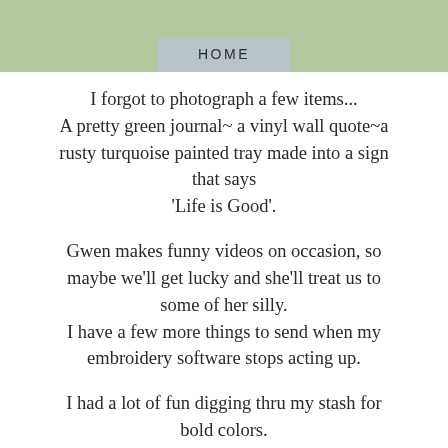HOME
I forgot to photograph a few items... A pretty green journal~ a vinyl wall quote~a rusty turquoise painted tray made into a sign that says 'Life is Good'.
Gwen makes funny videos on occasion, so maybe we'll get lucky and she'll treat us to some of her silly. I have a few more things to send when my embroidery software stops acting up.
I had a lot of fun digging thru my stash for bold colors.
Have fun, Gwen!